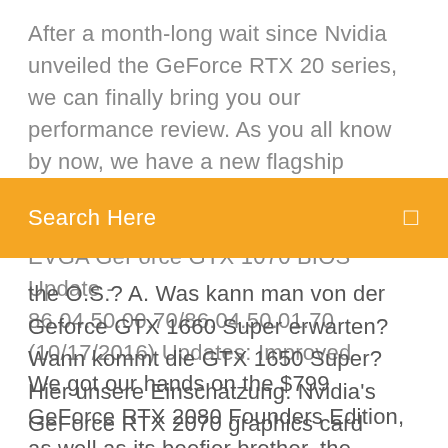After a month-long wait since Nvidia unveiled the GeForce RTX 20 series, we can finally bring you our performance review. As you all know by now, we have a new flagship graphics card in the GeForce RTX 2080 Ti with pricing starting at $1... EVGA GeForce GTX 1070 BIOS Update - 86.04.50.00.70/86.04.50.01.70 (10/17/2016) Updates: Improved
[Figure (screenshot): Orange search bar with 'Search Here' placeholder text and a search icon on the right]
the O.S.? A. Was kann man von der Geforce GTX 1660 Super erwarten? Wann kommt die GTX 1650 Super? Hier unsere Einschätzung. Nvidia's GeForce RTX 2070 graphics card launches this morning. First, the bad news: we don't have an RTX 2070 in the TR labs for testing. We're working to obtain one
We got our hands on the $799 GeForce RTX 2080 Founders Edition, as well as its beefier brother, the GeForce RTX 2080 Ti Founders Edition, and put them to a load of tests. This huge,